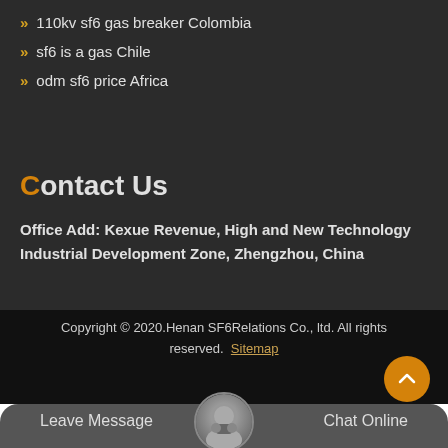110kv sf6 gas breaker Colombia
sf6 is a gas Chile
odm sf6 price Africa
Contact Us
Office Add: Kexue Revenue, High and New Technology Industrial Development Zone, Zhengzhou, China
Copyright © 2020.Henan SF6Relations Co., ltd. All rights reserved. Sitemap
Leave Message
Chat Online